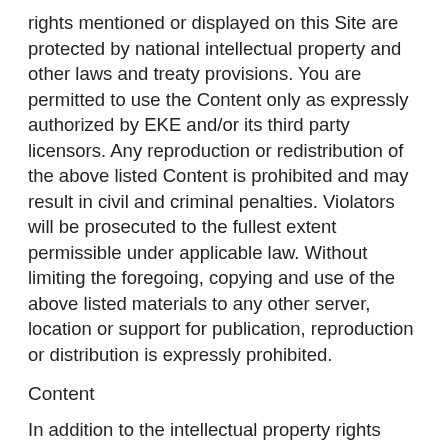rights mentioned or displayed on this Site are protected by national intellectual property and other laws and treaty provisions. You are permitted to use the Content only as expressly authorized by EKE and/or its third party licensors. Any reproduction or redistribution of the above listed Content is prohibited and may result in civil and criminal penalties. Violators will be prosecuted to the fullest extent permissible under applicable law. Without limiting the foregoing, copying and use of the above listed materials to any other server, location or support for publication, reproduction or distribution is expressly prohibited.
Content
In addition to the intellectual property rights mentioned above, Content is defined as any graphics, photographs, including all image rights, sounds, music, video, audio or text on this Site. EVOLUTIONKIDSEMPORIUM.COM tries